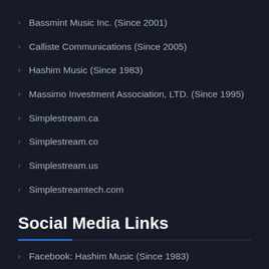Bassmint Music Inc. (Since 2001)
Calliste Communications (Since 2005)
Hashim Music (Since 1983)
Massimo Investment Association, LTD. (Since 1995)
Simplestream.ca
Simplestream.co
Simplestream.us
Simplestreamtech.com
Social Media Links
Facebook: Hashim Music (Since 1983)
Facebook: Official Calliste (Public Figure)